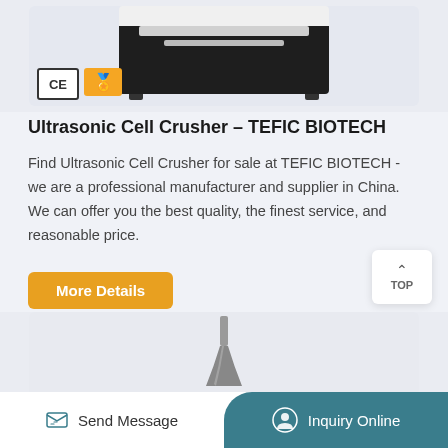[Figure (photo): Ultrasonic cell crusher device (top portion) shown against light blue background, with CE mark badge and gold supplier badge visible in the bottom-left of the image]
Ultrasonic Cell Crusher – TEFIC BIOTECH
Find Ultrasonic Cell Crusher for sale at TEFIC BIOTECH - we are a professional manufacturer and supplier in China. We can offer you the best quality, the finest service, and reasonable price.
[Figure (photo): Ultrasonic probe/tip (sonotrode) shown on light blue-grey background — a metallic narrow cylindrical probe with flared bottom]
Send Message   Inquiry Online